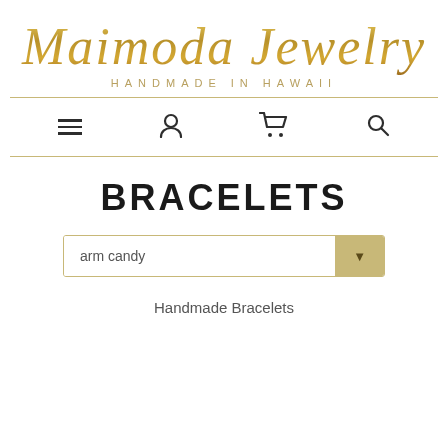[Figure (logo): Maimoda Jewelry script logo in gold/tan gradient with decorative swirls and 'HANDMADE IN HAWAII' subtitle in spaced caps]
[Figure (infographic): Navigation bar with hamburger menu, person/account icon, shopping cart icon, and search icon]
BRACELETS
[Figure (other): Filter/sort dropdown selector showing 'arm candy' with a gold dropdown arrow button]
Handmade Bracelets